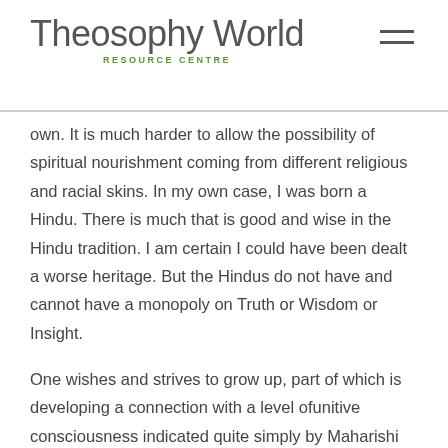Theosophy World RESOURCE CENTRE
own. It is much harder to allow the possibility of spiritual nourishment coming from different religious and racial skins. In my own case, I was born a Hindu. There is much that is good and wise in the Hindu tradition. I am certain I could have been dealt a worse heritage. But the Hindus do not have and cannot have a monopoly on Truth or Wisdom or Insight.
One wishes and strives to grow up, part of which is developing a connection with a level ofunitive consciousness indicated quite simply by Maharishi Ramana's